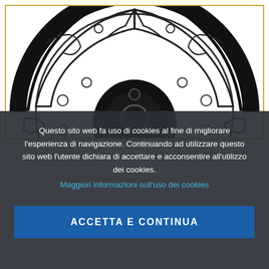[Figure (illustration): Technical illustration of automotive brake shoes viewed from the back, showing two curved brake shoe assemblies arranged in a circle, with mounting holes and spring attachment points visible. Drawn in black line art on white background, with a gold/yellow border frame.]
Questo sito web fa uso di cookies al fine di migliorare l'esperienza di navigazione. Continuando ad utilizzare questo sito web l'utente dichiara di accettare e acconsentire all'utilizzo dei cookies.
Maggiori informazioni sull'uso dei cookies
ACCETTA E CONTINUA